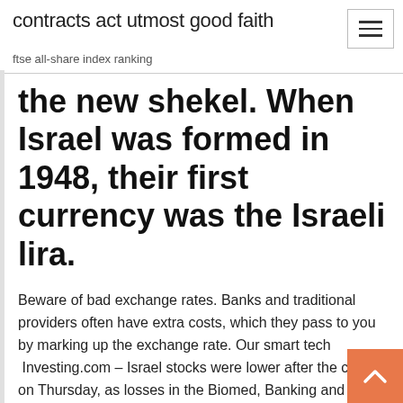contracts act utmost good faith
ftse all-share index ranking
the new shekel. When Israel was formed in 1948, their first currency was the Israeli lira.
Beware of bad exchange rates. Banks and traditional providers often have extra costs, which they pass to you by marking up the exchange rate. Our smart tech  Investing.com – Israel stocks were lower after the close on Thursday, as losses in the Biomed, Banking and Technology sectors led shares lower. At the close in  Send US Dollars online and keep a record of the status of all transactions. TransferMate will beat your bank on exchange rates and transfer fees and provide you Visis our site to check the daily rate of israeli shekel (ILS). You also can see the evolution of the rate, place a reservation or buy currency online. From Euro to Pound Sterling · From United